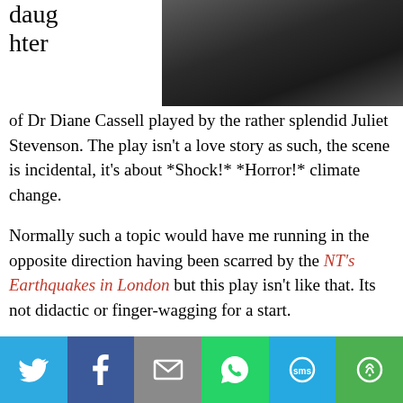daughter
[Figure (photo): Dark photo of a person, partially visible, cropped at top of page]
of Dr Diane Cassell played by the rather splendid Juliet Stevenson. The play isn't a love story as such, the scene is incidental, it's about *Shock!* *Horror!* climate change.
Normally such a topic would have me running in the opposite direction having been scarred by the NT's Earthquakes in London but this play isn't like that. Its not didactic or finger-wagging for a start.
Its central narrative is about a university professor, Dr Cassell, whose research in the Maldives appears to show sea levels aren't rising.
[Figure (infographic): Social sharing bar with Twitter, Facebook, Email, WhatsApp, SMS, and More buttons]